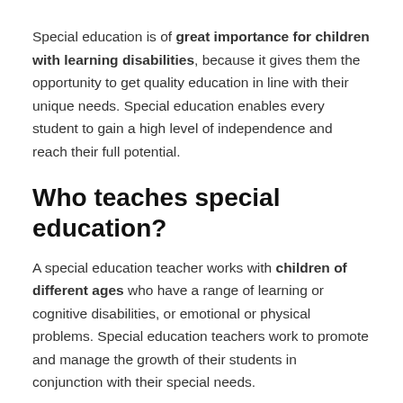Special education is of great importance for children with learning disabilities, because it gives them the opportunity to get quality education in line with their unique needs. Special education enables every student to gain a high level of independence and reach their full potential.
Who teaches special education?
A special education teacher works with children of different ages who have a range of learning or cognitive disabilities, or emotional or physical problems. Special education teachers work to promote and manage the growth of their students in conjunction with their special needs.
Why do we need special education?